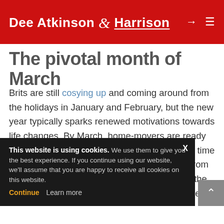Dee Atkinson & Harrison
The pivotal month of March
Brits are still cosying up and coming around from the holidays in January and February, but the new year typically sparks renewed motivations towards life changes. By March, home-movers are ready to spring into action in the hopes of moving in time for the summer. According to the latest data from Rightmove, for the past five years (excluding the pandemic interruptions of 2020), March has been [the busiest month for] enquiries regarding [properties]. [This level of] activity creates [competition] between potential buyers, making it easier for sellers to secure deals.
This website is using cookies. We use them to give you the best experience. If you continue using our website, we'll assume that you are happy to receive all cookies on this website. Continue Learn more